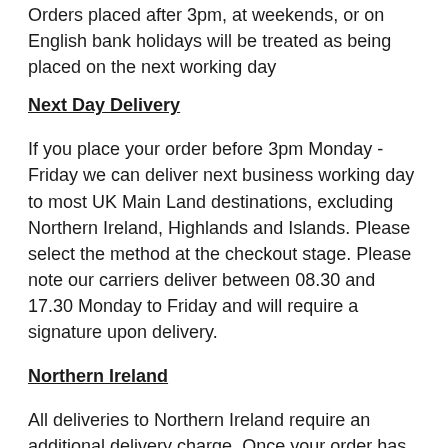Orders placed after 3pm, at weekends, or on English bank holidays will be treated as being placed on the next working day
Next Day Delivery
If you place your order before 3pm Monday - Friday we can deliver next business working day to most UK Main Land destinations, excluding Northern Ireland, Highlands and Islands. Please select the method at the checkout stage. Please note our carriers deliver between 08.30 and 17.30 Monday to Friday and will require a signature upon delivery.
Northern Ireland
All deliveries to Northern Ireland require an additional delivery charge. Once your order has been in place, we will be in touch with the extra delivery charge
Any order placed on a Saturday or Sunday with next day